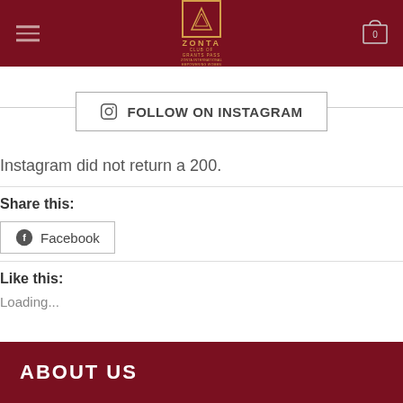Zonta Club of Grants Pass — site header with logo and navigation
[Figure (logo): Zonta Club of Grants Pass logo in dark red header bar with hamburger menu on left and cart icon on right]
FOLLOW ON INSTAGRAM
Instagram did not return a 200.
Share this:
Facebook
Like this:
Loading...
ABOUT US